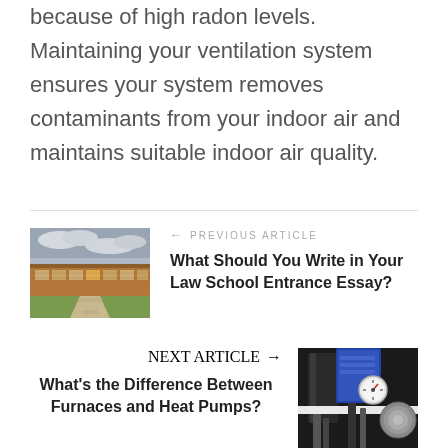because of high radon levels. Maintaining your ventilation system ensures your system removes contaminants from your indoor air and maintains suitable indoor air quality.
[Figure (photo): Exterior photo of a modern low-rise building with wooden cladding and a green lawn, cloudy sky]
← PREVIOUS ARTICLE
What Should You Write in Your Law School Entrance Essay?
NEXT ARTICLE →
What's the Difference Between Furnaces and Heat Pumps?
[Figure (photo): Close-up photo of industrial HVAC equipment including gauges and pipes]